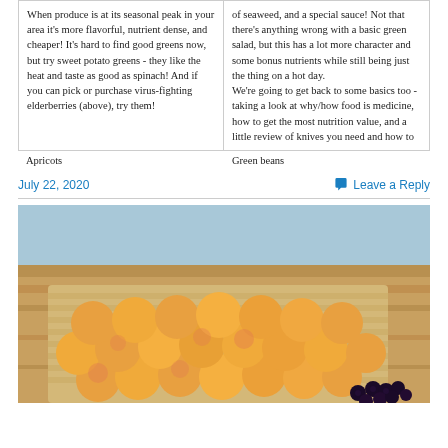When produce is at its seasonal peak in your area it's more flavorful, nutrient dense, and cheaper! It's hard to find good greens now, but try sweet potato greens - they like the heat and taste as good as spinach! And if you can pick or purchase virus-fighting elderberries (above), try them!
of seaweed, and a special sauce! Not that there's anything wrong with a basic green salad, but this has a lot more character and some bonus nutrients while still being just the thing on a hot day.
We're going to get back to some basics too - taking a look at why/how food is medicine, how to get the most nutrition value, and a little review of knives you need and how to
Apricots
Green beans
July 22, 2020
Leave a Reply
[Figure (photo): A basket of fresh apricots with some blackberries, placed on a wooden surface. The apricots are golden-orange with a pink blush.]